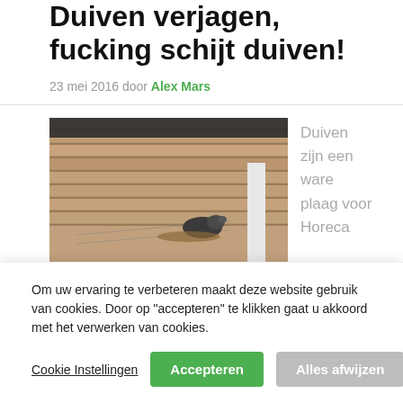Duiven verjagen, fucking schijt duiven!
23 mei 2016 door Alex Mars
[Figure (photo): A pigeon nesting under a roof overhang on a brick wall with wire mesh visible]
Duiven zijn een ware plaag voor Horeca
Om uw ervaring te verbeteren maakt deze website gebruik van cookies. Door op "accepteren" te klikken gaat u akkoord met het verwerken van cookies.
Cookie Instellingen | Accepteren | Alles afwijzen